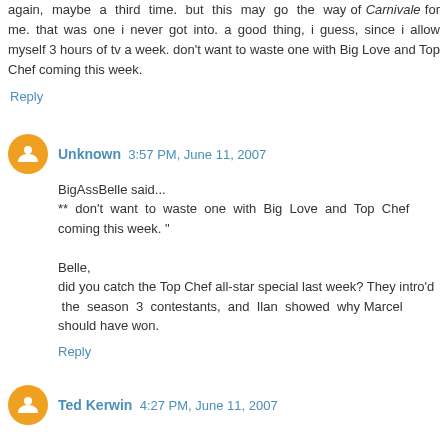again, maybe a third time. but this may go the way of Carnivale for me. that was one i never got into. a good thing, i guess, since i allow myself 3 hours of tv a week. don't want to waste one with Big Love and Top Chef coming this week.
Reply
Unknown 3:57 PM, June 11, 2007
BigAssBelle said...
** don't want to waste one with Big Love and Top Chef coming this week. "

Belle,
did you catch the Top Chef all-star special last week? They intro'd the season 3 contestants, and Ilan showed why Marcel should have won.
Reply
Ted Kerwin 4:27 PM, June 11, 2007